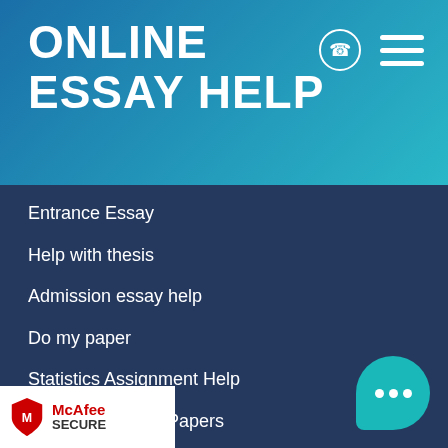ONLINE ESSAY HELP
Entrance Essay
Help with thesis
Admission essay help
Do my paper
Statistics Assignment Help
Online Research Papers
Nursing Essay Writing Service
Buy Essays
College Papers
Best Term paper site
Get Annotated bibliography Writing Services
ve essay
arch Papers
[Figure (logo): McAfee SECURE badge with red shield logo]